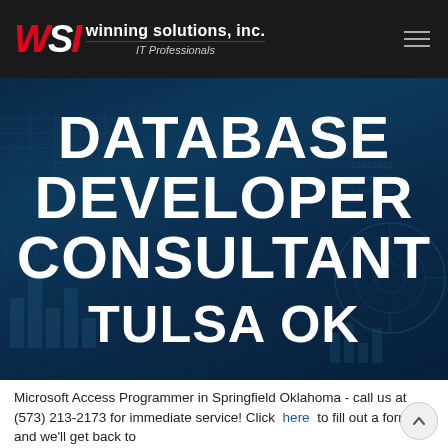[Figure (logo): WSI Winning Solutions, Inc. IT Professionals logo on black header bar with hamburger menu icon]
DATABASE DEVELOPER CONSULTANT TULSA OK
Microsoft Access Programmer in Springfield Oklahoma - call us at (573) 213-2173 for immediate service! Click here to fill out a form and we'll get back to